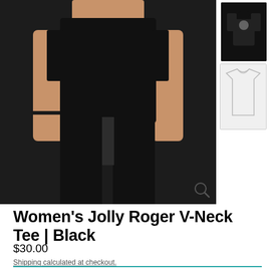[Figure (photo): Main product photo: woman wearing a black v-neck tee and black pants, cropped from mid-torso to mid-thigh. A magnifying glass icon appears in the lower right of the image area.]
[Figure (photo): Thumbnail image 1: black t-shirt on model, small thumbnail.]
[Figure (photo): Thumbnail image 2: white/outline t-shirt graphic on light background, small thumbnail.]
Women's Jolly Roger V-Neck Tee | Black
$30.00
Shipping calculated at checkout.
Hurry! Only 3 units left in stock!